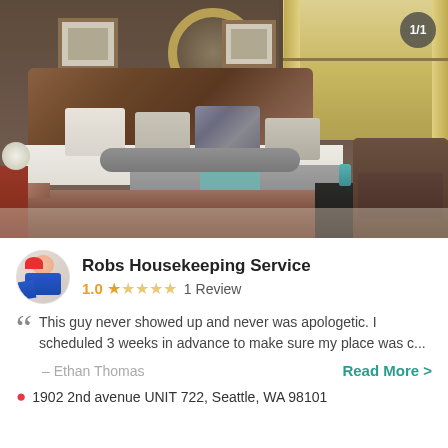[Figure (photo): Interior bedroom photo showing a sleigh bed with decorative pillows, brown walls, round mirror, curtained windows, and nightstands]
Robs Housekeeping Service
1.0 ★ ★ ★ ★ ★ 1 Review
This guy never showed up and never was apologetic. I scheduled 3 weeks in advance to make sure my place was c...
– Ethan Thomas
Read More >
1902 2nd avenue UNIT 722, Seattle, WA 98101